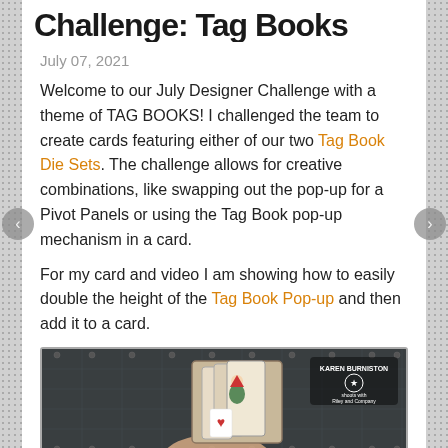Challenge: Tag Books
July 07, 2021
Welcome to our July Designer Challenge with a theme of TAG BOOKS! I challenged the team to create cards featuring either of our two Tag Book Die Sets. The challenge allows for creative combinations, like swapping out the pop-up for a Pivot Panels or using the Tag Book pop-up mechanism in a card.
For my card and video I am showing how to easily double the height of the Tag Book Pop-up and then add it to a card.
[Figure (photo): A hand holding a handmade tag book/card with gnome illustrations, shown on a cutting mat background. Karen Burniston logo visible in top right.]